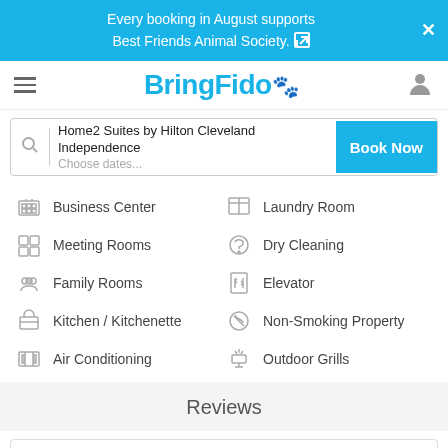Every booking in August supports Best Friends Animal Society.
[Figure (logo): BringFido logo with paw print icon]
Home2 Suites by Hilton Cleveland Independence
Choose dates...
Business Center
Laundry Room
Meeting Rooms
Dry Cleaning
Family Rooms
Elevator
Kitchen / Kitchenette
Non-Smoking Property
Air Conditioning
Outdoor Grills
Reviews
BringFido Guest Rating   TripAdvisor Traveler Rating